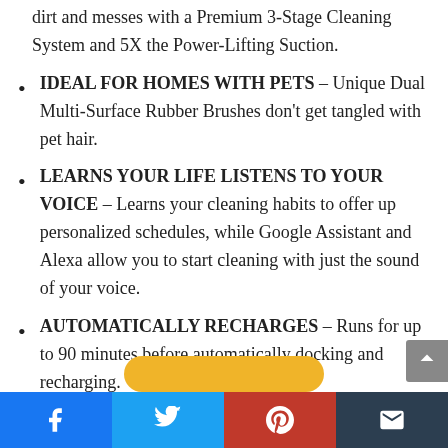dirt and messes with a Premium 3-Stage Cleaning System and 5X the Power-Lifting Suction.
IDEAL FOR HOMES WITH PETS – Unique Dual Multi-Surface Rubber Brushes don't get tangled with pet hair.
LEARNS YOUR LIFE LISTENS TO YOUR VOICE – Learns your cleaning habits to offer up personalized schedules, while Google Assistant and Alexa allow you to start cleaning with just the sound of your voice.
AUTOMATICALLY RECHARGES – Runs for up to 90 minutes before automatically docking and recharging.
Facebook | Twitter | Pinterest | Email